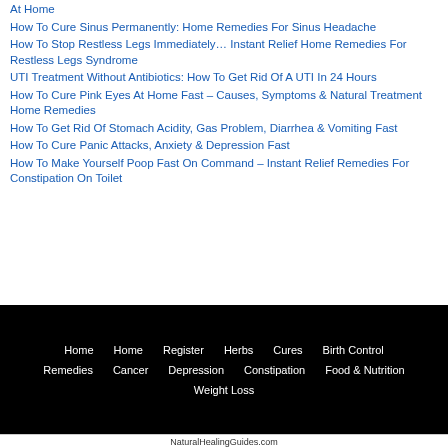At Home
How To Cure Sinus Permanently: Home Remedies For Sinus Headache
How To Stop Restless Legs Immediately… Instant Relief Home Remedies For Restless Legs Syndrome
UTI Treatment Without Antibiotics: How To Get Rid Of A UTI In 24 Hours
How To Cure Pink Eyes At Home Fast – Causes, Symptoms & Natural Treatment Home Remedies
How To Get Rid Of Stomach Acidity, Gas Problem, Diarrhea & Vomiting Fast
How To Cure Panic Attacks, Anxiety & Depression Fast
How To Make Yourself Poop Fast On Command – Instant Relief Remedies For Constipation On Toilet
Home   Home   Register   Herbs   Cures   Birth Control   Remedies   Cancer   Depression   Constipation   Food & Nutrition   Weight Loss
NaturalHealingGuides.com